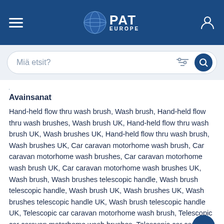PAT EUROPE
Miä etsit?
Avainsanat
Hand-held flow thru wash brush, Wash brush, Hand-held flow thru wash brushes, Wash brush UK, Hand-held flow thru wash brush UK, Wash brushes UK, Hand-held flow thru wash brush, Wash brushes UK, Car caravan motorhome wash brush, Car caravan motorhome wash brushes, Car caravan motorhome wash brush UK, Car caravan motorhome wash brushes UK, Wash brush, Wash brushes telescopic handle, Wash brush telescopic handle, Wash brush UK, Wash brushes UK, Wash brushes telescopic handle UK, Wash brush telescopic handle UK, Telescopic car caravan motorhome wash brush, Telescopic car caravan motorhome wash brushes, Telescopic car caravan motorhome wash brush UK, Flow-through brush, Flow-through brushes, Short handle flow-through brush, Flow-through brush UK, Flow-through brushes UK, Short handle flow-through brush UK, Short handle flow-through brushes UK